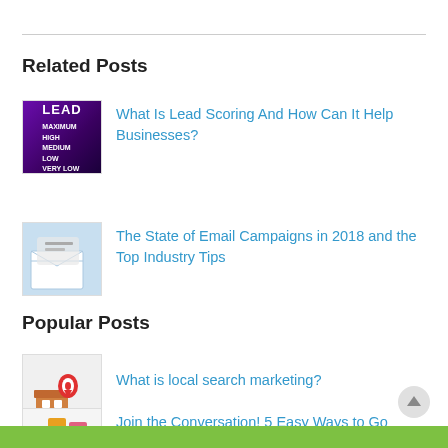Related Posts
What Is Lead Scoring And How Can It Help Businesses?
The State of Email Campaigns in 2018 and the Top Industry Tips
Popular Posts
What is local search marketing?
Join the Conversation! 5 Easy Ways to Go